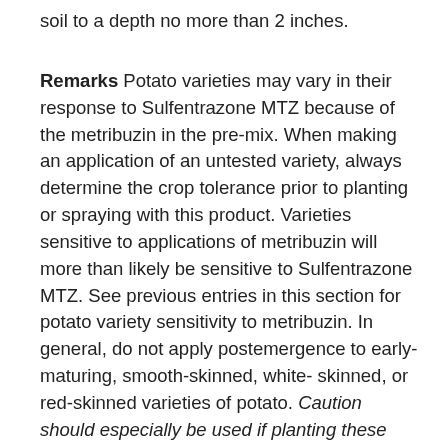soil to a depth no more than 2 inches.
Remarks Potato varieties may vary in their response to Sulfentrazone MTZ because of the metribuzin in the pre-mix. When making an application of an untested variety, always determine the crop tolerance prior to planting or spraying with this product. Varieties sensitive to applications of metribuzin will more than likely be sensitive to Sulfentrazone MTZ. See previous entries in this section for potato variety sensitivity to metribuzin. In general, do not apply postemergence to early-maturing, smooth-skinned, white- skinned, or red-skinned varieties of potato. Caution should especially be used if planting these varieties on marginal coarse soils. Factors such as heavy rain after application; cool and moist conditions before row closure; stress from heat; and soil conditions such as coarse texture, low organic matter which have effects on crop response to the